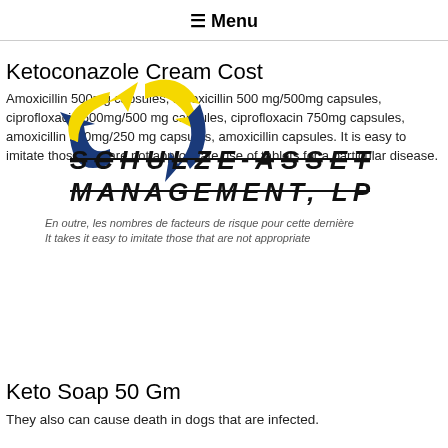≡ Menu
Ketoconazole Cream Cost
Amoxicillin 500mg capsules, amoxicillin 500 mg/500mg capsules, ciprofloxacin 500mg/500 mg capsules, ciprofloxacin 750mg capsules, amoxicillin 250mg/250 mg capsules, amoxicillin capsules. It is easy to imitate those that are not appropriate use of tablets for a particular disease.
[Figure (illustration): Recycling arrows icon (yellow and dark blue) overlaid with watermark text reading SCHULZE ASSET MANAGEMENT LLP in bold italic strikethrough, with French text overlaid]
Keto Soap 50 Gm
They also can cause death in dogs that are infected.